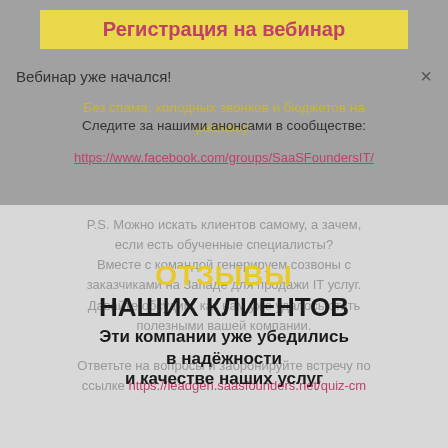Регистрация на вебинар
Вебинар уже начался!
Без спама, холодных звонков и бюджетов на рекламу:
Следите за нашими анонсами в сообществе:
https://www.facebook.com/groups/SaaSFoundersIT/
ОТЗЫВЫ наших клиентов
Эти компании уже убедились в надёжности и качестве наших услуг
P.S. Можно искать клиентов самому, а зачем, если есть обученные специалисты? Вместе с командой генерируем созвоны с заказчиками на Западе для продажи IT услуг. Давайте обсудим, как нам уже удалось стать полезными вашей компании.
Ответьте на вопросы и забронируйте встречу по ссылке https://leadgen.saasfounders.net/quiz-cm